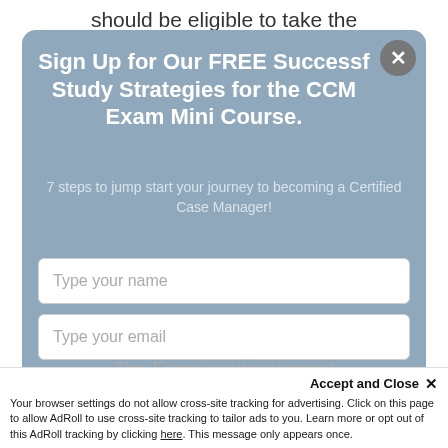should be eligible to take the
Sign Up for Our FREE Successful Study Strategies for the CCM Exam Mini Course.
7 steps to jump start your journey to becoming a Certified Case Manager!
Type your name
Type your email
Submit
The Exam is administered
by the CMC Croa...
Accept and Close ✕
Your browser settings do not allow cross-site tracking for advertising. Click on this page to allow AdRoll to use cross-site tracking to tailor ads to you. Learn more or opt out of this AdRoll tracking by clicking here. This message only appears once.